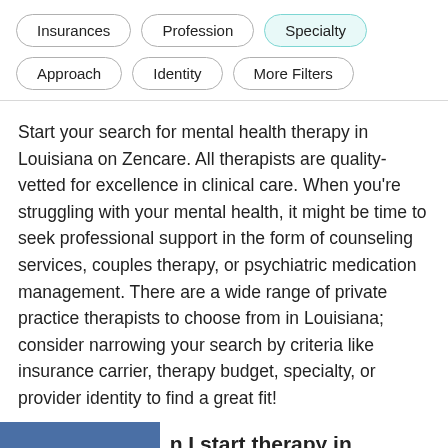Insurances
Profession
Specialty
Approach
Identity
More Filters
Start your search for mental health therapy in Louisiana on Zencare. All therapists are quality-vetted for excellence in clinical care. When you’re struggling with your mental health, it might be time to seek professional support in the form of counseling services, couples therapy, or psychiatric medication management. There are a wide range of private practice therapists to choose from in Louisiana; consider narrowing your search by criteria like insurance carrier, therapy budget, specialty, or provider identity to find a great fit!
How do I start therapy in Louisiana?
Start your search for a great therapist in Louisiana on Zencare. First, consider characteristics like...